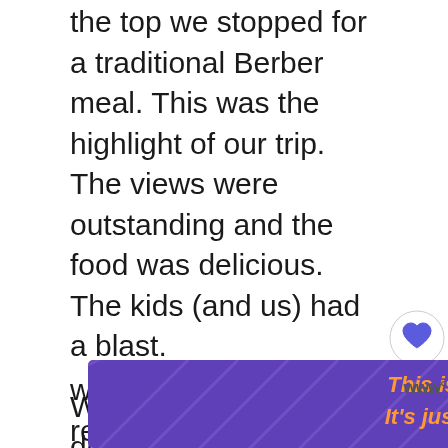the top we stopped for a traditional Berber meal.  This was the highlight of our trip.  The views were outstanding and the food was delicious.  The kids (and us) had a blast.
We then made our way down the mountain for more views and were returned safely to our riad.  This trip was very family friendly and I highly recommend it.  I did feel that a lot of the stops were set up for tourist photo opportunities and sales but that w... with us.  If you are more intereste... really getting embedded in the culture this
[Figure (screenshot): UI overlay with heart/like button showing 459 likes, and a share icon button on the right side of the page]
[Figure (screenshot): WHAT'S NEXT card showing Park City With Kids: Summ... with a thumbnail image of a mountainous town]
[Figure (screenshot): Purple advertisement banner reading 'This isn't forever. It's just right now.' in orange italic text with decorative wavy pattern, with an X close button]
y... to